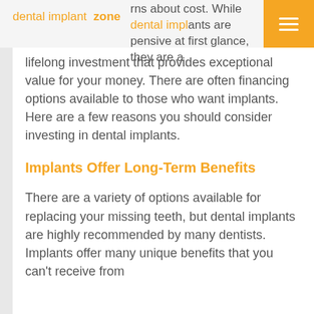dental implant zone
rns about cost. While dental implants are expensive at first glance, they are a lifelong investment that provides exceptional value for your money. There are often financing options available to those who want implants. Here are a few reasons you should consider investing in dental implants.
Implants Offer Long-Term Benefits
There are a variety of options available for replacing your missing teeth, but dental implants are highly recommended by many dentists. Implants offer many unique benefits that you can't receive from